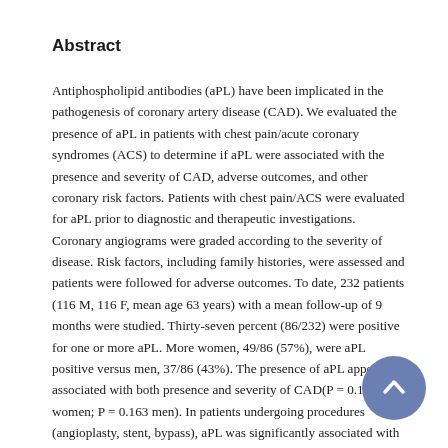Abstract
Antiphospholipid antibodies (aPL) have been implicated in the pathogenesis of coronary artery disease (CAD). We evaluated the presence of aPL in patients with chest pain/acute coronary syndromes (ACS) to determine if aPL were associated with the presence and severity of CAD, adverse outcomes, and other coronary risk factors. Patients with chest pain/ACS were evaluated for aPL prior to diagnostic and therapeutic investigations. Coronary angiograms were graded according to the severity of disease. Risk factors, including family histories, were assessed and patients were followed for adverse outcomes. To date, 232 patients (116 M, 116 F, mean age 63 years) with a mean follow-up of 9 months were studied. Thirty-seven percent (86/232) were positive for one or more aPL. More women, 49/86 (57%), were aPL positive versus men, 37/86 (43%). The presence of aPL appeared associated with both presence and severity of CAD(P = 0.176 women; P = 0.163 men). In patients undergoing procedures (angioplasty, stent, bypass), aPL was significantly associated with both an increase in adverse cardiac outcomes (P = 0.045) and extracardiac